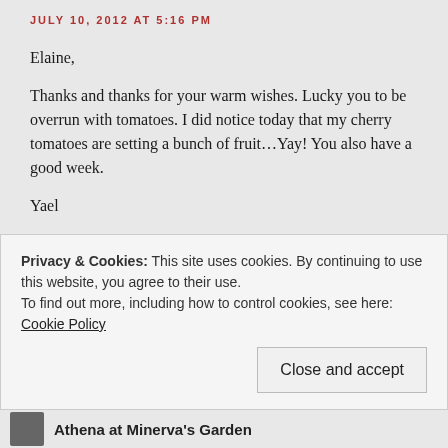JULY 10, 2012 AT 5:16 PM
Elaine,
Thanks and thanks for your warm wishes. Lucky you to be overrun with tomatoes. I did notice today that my cherry tomatoes are setting a bunch of fruit…Yay! You also have a good week.
Yael
★ Like
Privacy & Cookies: This site uses cookies. By continuing to use this website, you agree to their use.
To find out more, including how to control cookies, see here: Cookie Policy
Close and accept
Athena at Minerva's Garden